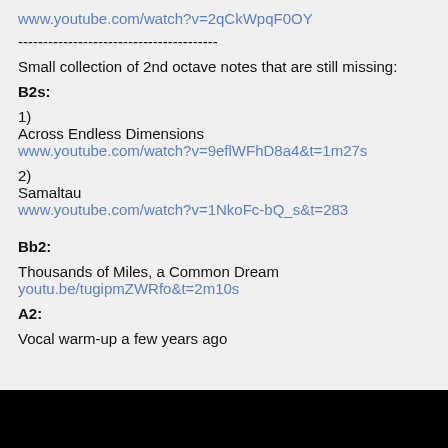www.youtube.com/watch?v=2qCkWpqF0OY
----------------------------------------
Small collection of 2nd octave notes that are still missing:
B2s:
1)
Across Endless Dimensions
www.youtube.com/watch?v=9eflWFhD8a4&t=1m27s
2)
Samaltau
www.youtube.com/watch?v=1NkoFc-bQ_s&t=283
Bb2:
Thousands of Miles, a Common Dream
youtu.be/tugipmZWRfo&t=2m10s
A2:
Vocal warm-up a few years ago